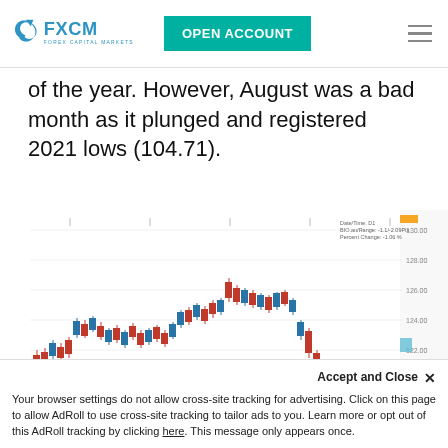[Figure (logo): FXCM Forex Capital Markets logo with teal open account button and hamburger menu]
of the year. However, August was a bad month as it plunged and registered 2021 lows (104.71).
[Figure (continuous-plot): Daily candlestick chart (D1) for BIO.au showing price action up to 26/8/2021 with red and blue candles, price rising then sharply falling to 2021 lows around 104.71]
26/8/2021
BIO.au (D1)
Accept and Close ✕
Your browser settings do not allow cross-site tracking for advertising. Click on this page to allow AdRoll to use cross-site tracking to tailor ads to you. Learn more or opt out of this AdRoll tracking by clicking here. This message only appears once.